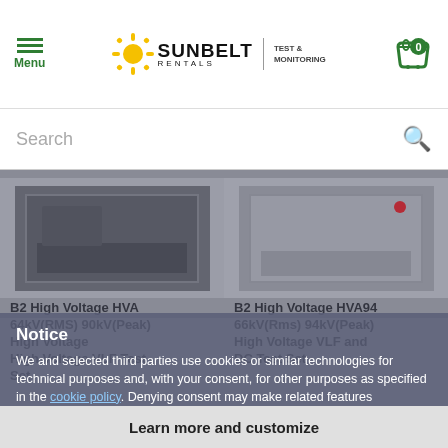Menu | SUNBELT RENTALS TEST & MONITORING | Cart: 0
Search
[Figure (screenshot): Two product images of high voltage VLF test sets on grey background]
B2 High Voltage HVA 64kV(RMS) 90kV(Peak) High Voltage VLF Test Set £1,000.00 per week
B2 High Voltage HVA94 66kV(Rms) 94kV(Peak) High Voltage VLF and DC Test Set £1,040.00 per week
Notice
We and selected third parties use cookies or similar technologies for technical purposes and, with your consent, for other purposes as specified in the cookie policy. Denying consent may make related features unavailable. You can consent to the use of such technologies by using the "Accept" button or by continuing to browse otherwise
Reject
Accept
Learn more and customize